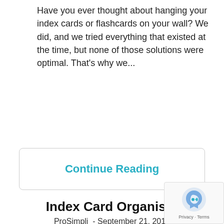Have you ever thought about hanging your index cards or flashcards on your wall? We did, and we tried everything that existed at the time, but none of those solutions were optimal. That's why we...
Continue Reading
Index Card Organiser
ProSimpli - September 21, 2019
[Figure (other): White card/box area at bottom of page with reCAPTCHA badge overlay]